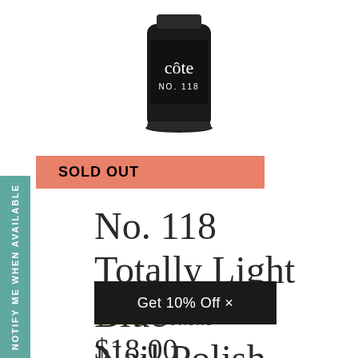[Figure (photo): Cote nail polish bottle, No. 118, dark navy/black bottle with white label text on white background]
SOLD OUT
NOTIFY ME WHEN AVAILABLE
No. 118 Totally Light Blue Nail Polish
Get 10% Off ×
★★★ 3 reviews
$18.00